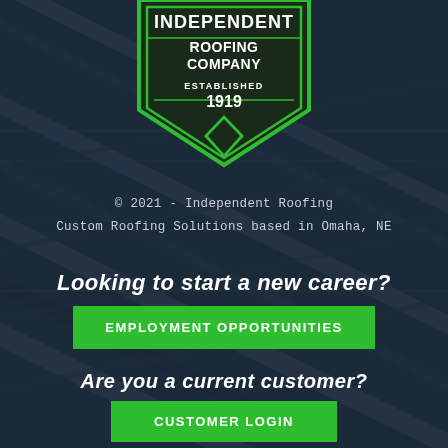[Figure (logo): Independent Roofing Company shield/badge logo in green and white with text: INDEPENDENT ROOFING COMPANY ESTABLISHED 1919]
© 2021 - Independent Roofing
Custom Roofing Solutions based in Omaha, NE
Looking to start a new career?
EMPLOYMENT OPPORTUNITIES
Are you a current customer?
CUSTOMER LOGIN